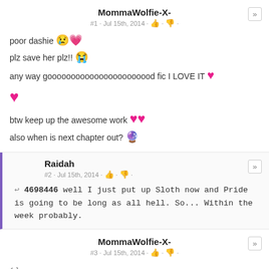MommaWolfie-X-
#1 · Jul 15th, 2014
poor dashie [emoji]
plz save her plz!! [emoji]
any way gooooooooooooooooooooood fic I LOVE IT [heart emoji]
[heart emoji]
btw keep up the awesome work [heart emoji]
also when is next chapter out? [emoji]
Raidah
#2 · Jul 15th, 2014
↩ 4698446 well I just put up Sloth now and Pride is going to be long as all hell. So... Within the week probably.
MommaWolfie-X-
#3 · Jul 15th, 2014